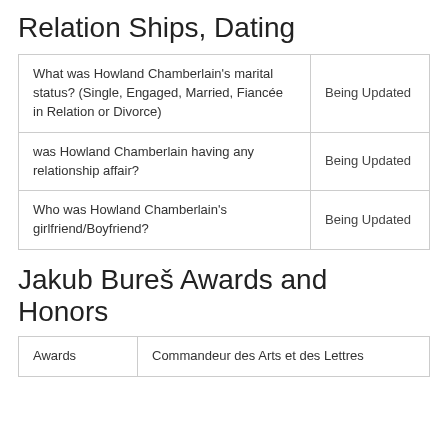Relation Ships, Dating
| Question | Answer |
| --- | --- |
| What was Howland Chamberlain's marital status? (Single, Engaged, Married, Fiancée in Relation or Divorce) | Being Updated |
| was Howland Chamberlain having any relationship affair? | Being Updated |
| Who was Howland Chamberlain's girlfriend/Boyfriend? | Being Updated |
Jakub Bureš Awards and Honors
| Awards | Commandeur des Arts et des Lettres |
| --- | --- |